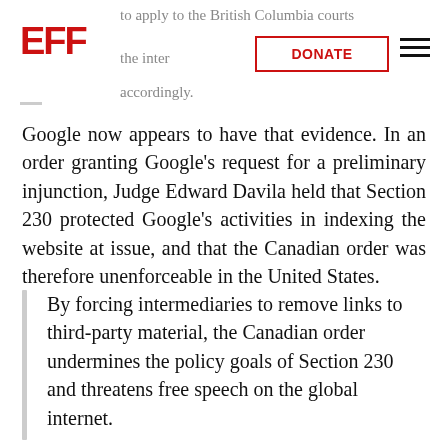to apply to the British Columbia courts the inter[net user] accordingly.
Google now appears to have that evidence. In an order granting Google's request for a preliminary injunction, Judge Edward Davila held that Section 230 protected Google's activities in indexing the website at issue, and that the Canadian order was therefore unenforceable in the United States.
By forcing intermediaries to remove links to third-party material, the Canadian order undermines the policy goals of Section 230 and threatens free speech on the global internet.